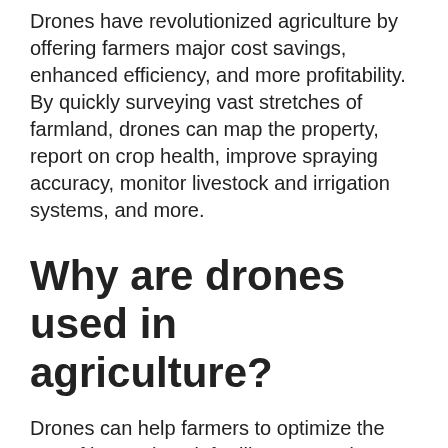Drones have revolutionized agriculture by offering farmers major cost savings, enhanced efficiency, and more profitability. By quickly surveying vast stretches of farmland, drones can map the property, report on crop health, improve spraying accuracy, monitor livestock and irrigation systems, and more.
Why are drones used in agriculture?
Drones can help farmers to optimize the use of inputs (seed, fertilizers, water), to react more quickly to threats (weeds, pests, fungi), to save time crop scouting (validate treatment/actions taken), to improve